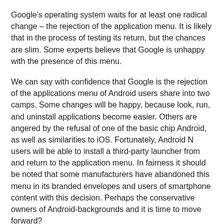Google's operating system waits for at least one radical change – the rejection of the application menu. It is likely that in the process of testing its return, but the chances are slim. Some experts believe that Google is unhappy with the presence of this menu.
We can say with confidence that Google is the rejection of the applications menu of Android users share into two camps. Some changes will be happy, because look, run, and uninstall applications become easier. Others are angered by the refusal of one of the basic chip Android, as well as similarities to iOS. Fortunately, Android N users will be able to install a third-party launcher from and return to the application menu. In fairness it should be noted that some manufacturers have abandoned this menu in its branded envelopes and users of smartphone content with this decision. Perhaps the conservative owners of Android-backgrounds and it is time to move forward?
© Andrei Tynok. Mobiltelefon
According to the materials of Android Authority